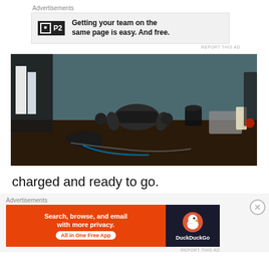Advertisements
[Figure (screenshot): P2 advertisement banner: logo with 'P2' text, bold headline 'Getting your team on the same page is easy. And free.']
REPORT THIS AD
[Figure (photo): Photo of a desk setup showing VR headset (HTC Vive), controllers, headphones, speakers, a mug, a laptop or device, candle, and various cables on a dark wooden desk with light blue wall in background.]
charged and ready to go.
Advertisements
[Figure (screenshot): DuckDuckGo advertisement banner: orange left panel with text 'Search, browse, and email with more privacy. All in One Free App', dark right panel with DuckDuckGo duck logo and DuckDuckGo brand name.]
REPORT THIS AD